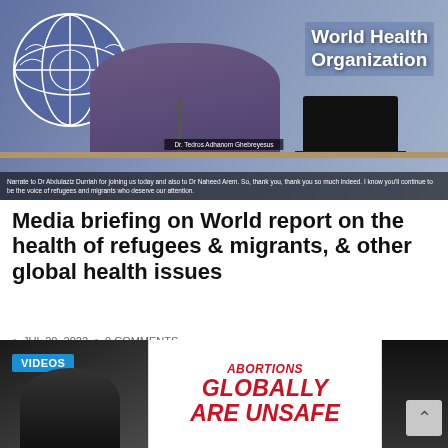[Figure (photo): WHO media briefing screenshot showing a speaker at a podium with the World Health Organization logo in the background, subtitles visible at the bottom]
Media briefing on World report on the health of refugees & migrants, & other global health issues
JUL 20, 2022 · 0 COMMENTS
CONTINUE READING »
[Figure (screenshot): Thumbnail showing a person in dark setting with VIDEOS badge, next to a graphic reading ABORTIONS GLOBALLY ARE UNSAFE in red italic text, and another dark thumbnail on the right with a scroll-to-top button]